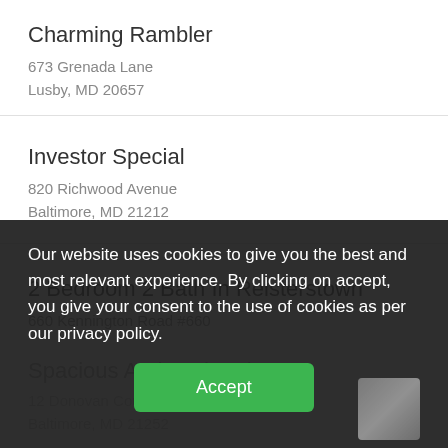Charming Rambler
673 Grenada Lane
Lusby, MD 20657
Investor Special
820 Richwood Avenue
Baltimore, MD 21212
2 Bedroom 2 Bath In Reisterstown
660 Kennington Road #660
Our website uses cookies to give you the best and most relevant experience. By clicking on accept, you give your consent to the use of cookies as per our privacy policy.
Accept
Spacious And Updated
12 Donovan Cour
Baltimore, MD 21252